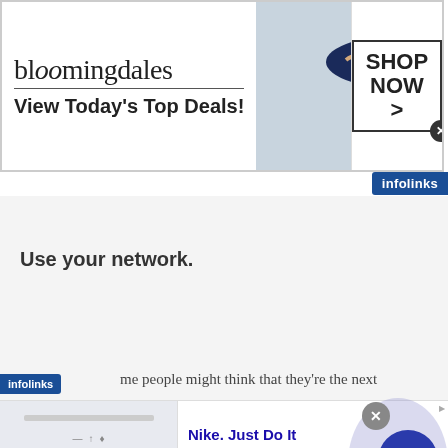[Figure (screenshot): Bloomingdales advertisement banner showing logo, 'View Today's Top Deals!' tagline, a model wearing a large blue sun hat, and a 'SHOP NOW >' button]
[Figure (logo): infolinks badge top right corner]
Use your network.
[Figure (logo): infolinks inline badge on left side]
me people might think that they're the next
[Figure (screenshot): Nike advertisement: 'Nike. Just Do It' — Inspiring the world's athletes, Nike delivers the deals. www.nike.com — with thumbnail image and arrow button]